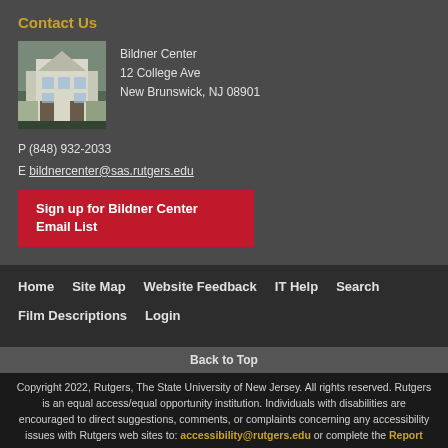Contact Us
[Figure (photo): Photo of Bildner Center building, a white multi-story building]
Bildner Center
12 College Ave
New Brunswick, NJ 08901
P (848) 932-2033
E bildnercenter@sas.rutgers.edu
Sign up for Bildner Center Email List
Home
Site Map
Website Feedback
IT Help
Search
Film Descriptions
Login
Back to Top
Copyright 2022, Rutgers, The State University of New Jersey. All rights reserved. Rutgers is an equal access/equal opportunity institution. Individuals with disabilities are encouraged to direct suggestions, comments, or complaints concerning any accessibility issues with Rutgers web sites to: accessibility@rutgers.edu or complete the Report Accessibility Barrier or Provide Feedback Form.